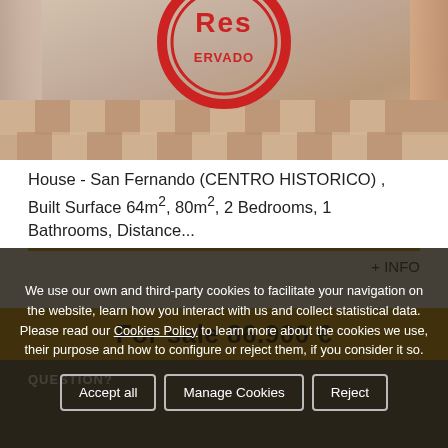[Figure (photo): Interior room photo with checkered floor, curtains, and a large red circular 'Reserved' stamp/watermark overlaid on the image]
House - San Fernando (CENTRO HISTORICO) , Built Surface 64m², 80m², 2 Bedrooms, 1 Bathrooms, Distance...
+ INFO
For sale 86.900 €
QUESTION?
We use our own and third-party cookies to facilitate your navigation on the website, learn how you interact with us and collect statistical data. Please read our Cookies Policy to learn more about the cookies we use, their purpose and how to configure or reject them, if you consider it so.
Accept all
Manage Cookies
Reject